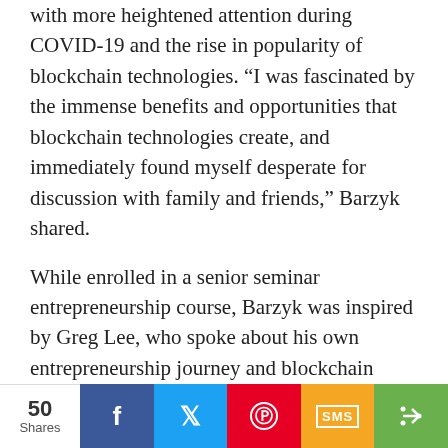with more heightened attention during COVID-19 and the rise in popularity of blockchain technologies. “I was fascinated by the immense benefits and opportunities that blockchain technologies create, and immediately found myself desperate for discussion with family and friends,” Barzyk shared.
While enrolled in a senior seminar entrepreneurship course, Barzyk was inspired by Greg Lee, who spoke about his own entrepreneurship journey and blockchain possibilities.
Barzyk, along with fellow classmate Akshay Akula, quickly learned that there were other students interested in the cryptocurrency/blockchain topic and merged their club ideas together with the goal of
50 Shares | Facebook | Twitter | Pinterest | SMS | Share